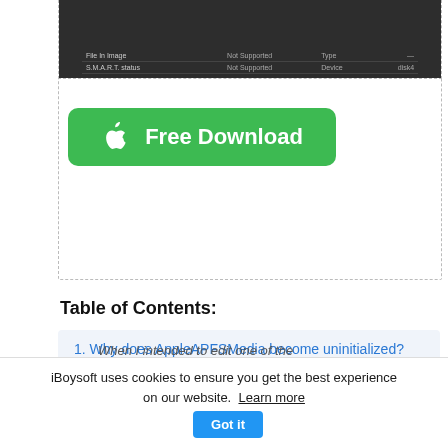[Figure (screenshot): Dark-themed table/list interface showing SMART status as Not Supported, partially visible at top of page]
[Figure (other): Green Free Download button with Apple logo icon]
Table of Contents:
1. Why does AppleAPFSMedia become uninitialized?
2. How to recover lost data from uninitialized AppleAPFSMedia?
When I intended to edit one of the working documents on my
iBoysoft uses cookies to ensure you get the best experience on our website.  Learn more  Got it